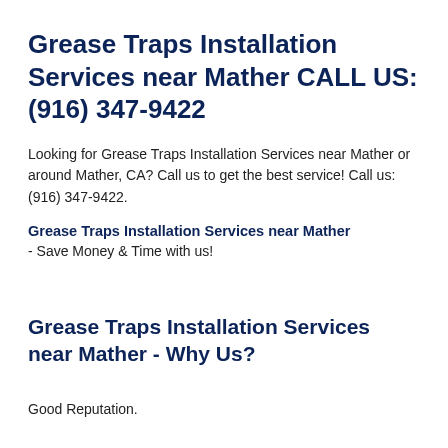Grease Traps Installation Services near Mather CALL US: (916) 347-9422
Looking for Grease Traps Installation Services near Mather or around Mather, CA? Call us to get the best service! Call us: (916) 347-9422.
Grease Traps Installation Services near Mather
- Save Money & Time with us!
Grease Traps Installation Services near Mather - Why Us?
Good Reputation.